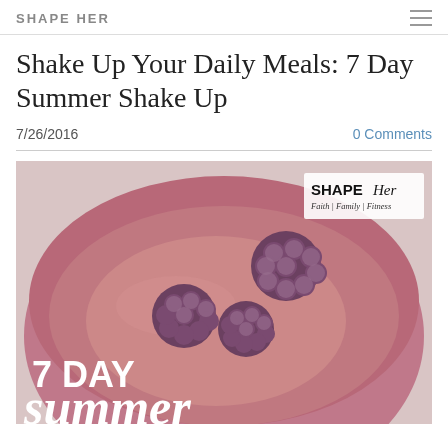SHAPE HER
Shake Up Your Daily Meals: 7 Day Summer Shake Up
7/26/2016
0 Comments
[Figure (photo): A smoothie bowl with three frozen blackberries on top of a pink/berry smoothie in a glass bowl, with white overlay text reading '7 DAY' and cursive 'summer'. SHAPE Her logo in top right corner with tagline 'Faith | Family | Fitness'.]